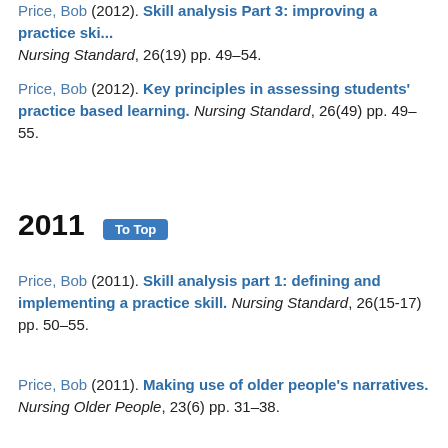Price, Bob (2012). Skill analysis Part 3: improving a practice skill. Nursing Standard, 26(19) pp. 49–54.
Price, Bob (2012). Key principles in assessing students' practice based learning. Nursing Standard, 26(49) pp. 49–55.
2011
Price, Bob (2011). Skill analysis part 1: defining and implementing a practice skill. Nursing Standard, 26(15-17) pp. 50–55.
Price, Bob (2011). Making use of older people's narratives. Nursing Older People, 23(6) pp. 31–38.